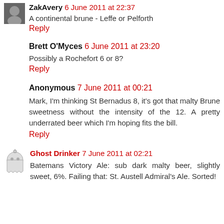ZakAvery 6 June 2011 at 22:37
A continental brune - Leffe or Pelforth
Reply
Brett O'Myces 6 June 2011 at 23:20
Possibly a Rochefort 6 or 8?
Reply
Anonymous 7 June 2011 at 00:21
Mark, I'm thinking St Bernadus 8, it's got that malty Brune sweetness without the intensity of the 12. A pretty underrated beer which I'm hoping fits the bill.
Reply
Ghost Drinker 7 June 2011 at 02:21
Batemans Victory Ale: sub dark malty beer, slightly sweet, 6%. Failing that: St. Austell Admiral's Ale. Sorted!